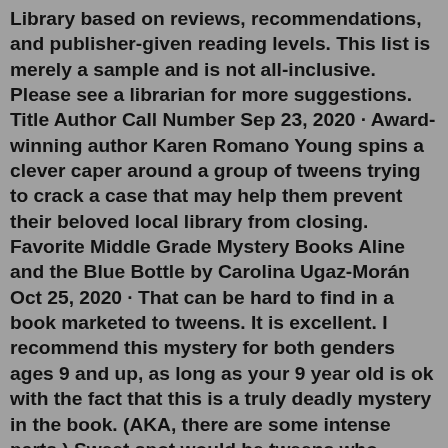Library based on reviews, recommendations, and publisher-given reading levels. This list is merely a sample and is not all-inclusive. Please see a librarian for more suggestions. Title Author Call Number Sep 23, 2020 · Award-winning author Karen Romano Young spins a clever caper around a group of tweens trying to crack a case that may help them prevent their beloved local library from closing. Favorite Middle Grade Mystery Books Aline and the Blue Bottle by Carolina Ugaz-Morán Oct 25, 2020 · That can be hard to find in a book marketed to tweens. It is excellent. I recommend this mystery for both genders ages 9 and up, as long as your 9 year old is ok with the fact that this is a truly deadly mystery in the book. (AKA, there are some intense parts.) Sweet spot would be tweens who resonate with the 12 year old main character. Aggie Morton, Mystery Queen series by Marthe Jocelyn For the lovers of classic murder mysteries, I give you the perfect series for your tween daughter. Aggie Morton Mystery Queen series is a rough re-imagining of Agatha Christie as a 12 year